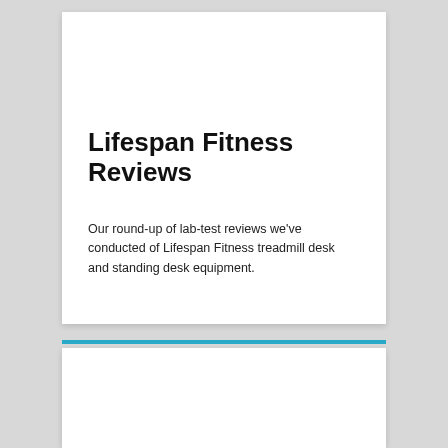Lifespan Fitness Reviews
Our round-up of lab-test reviews we've conducted of Lifespan Fitness treadmill desk and standing desk equipment.
Read more >